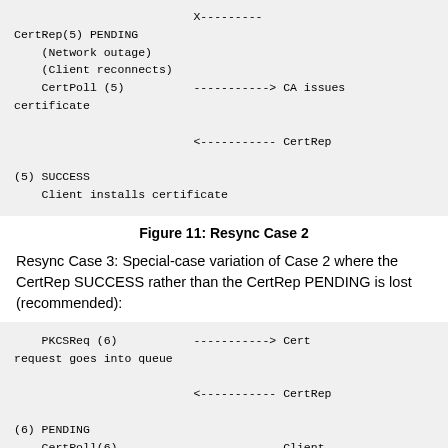[Figure (other): Sequence diagram (continued) showing CertRep(5) PENDING with network outage, client reconnects, CertPoll(5) to CA which issues certificate, CA sends CertRep(5) SUCCESS, client installs certificate. X marker on right side.]
Figure 11: Resync Case 2
Resync Case 3: Special-case variation of Case 2 where the CertRep SUCCESS rather than the CertRep PENDING is lost (recommended):
[Figure (other): Sequence diagram showing PKCSReq(6) to Cert, request goes into queue, CertRep(6) PENDING response back.]